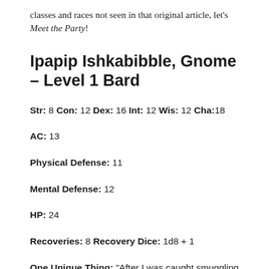classes and races not seen in that original article, let's Meet the Party!
Ipapip Ishkabibble, Gnome – Level 1 Bard
Str: 8 Con: 12 Dex: 16 Int: 12 Wis: 12 Cha: 18
AC: 13
Physical Defense: 11
Mental Defense: 12
HP: 24
Recoveries: 8 Recovery Dice: 1d8 + 1
One Unique Thing: "After I was caught smuggling,